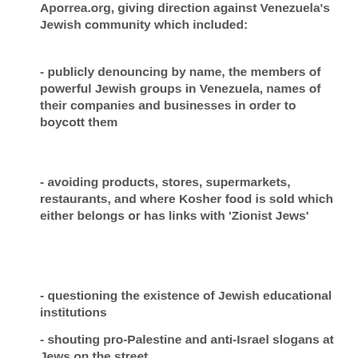Aporrea.org, giving direction against Venezuela's Jewish community which included:
- publicly denouncing by name, the members of powerful Jewish groups in Venezuela, names of their companies and businesses in order to boycott them
- avoiding products, stores, supermarkets, restaurants, and where Kosher food is sold which either belongs or has links with 'Zionist Jews'
- questioning the existence of Jewish educational institutions
- shouting pro-Palestine and anti-Israel slogans at Jews on the street
- inviting anti-Zionist Jews living in Venezuela to publicly express their